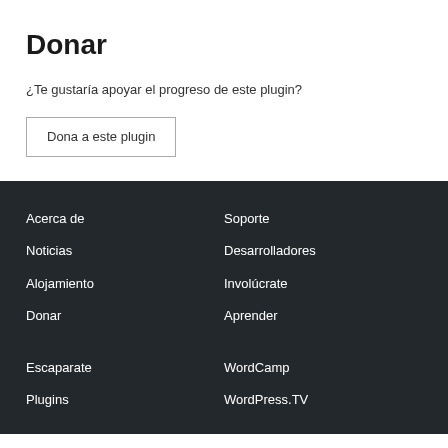Donar
¿Te gustaría apoyar el progreso de este plugin?
Dona a este plugin
Acerca de
Noticias
Alojamiento
Donar
Soporte
Desarrolladores
Involúcrate
Aprender
Escaparate
Plugins
WordCamp
WordPress.TV